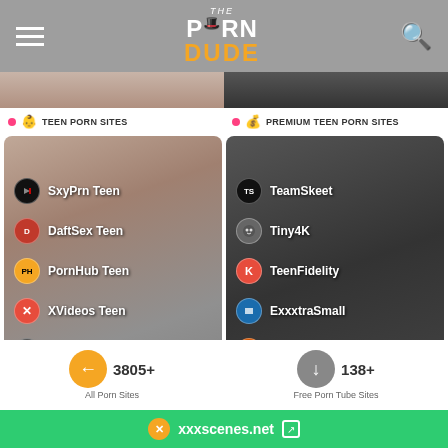The Porn Dude
[Figure (screenshot): Two partial thumbnail images side by side]
TEEN PORN SITES
PREMIUM TEEN PORN SITES
[Figure (screenshot): Left panel listing teen porn sites: SxyPrn Teen, DaftSex Teen, PornHub Teen, XVideos Teen, xHamster Teen with site logos on a model background]
[Figure (screenshot): Right panel listing premium teen porn sites: TeamSkeet, Tiny4K, TeenFidelity, ExxxtraSmall, HotMovies Teen with site logos on a dark background]
xxxscenes.net
3805+
All Porn Sites
138+
Free Porn Tube Sites